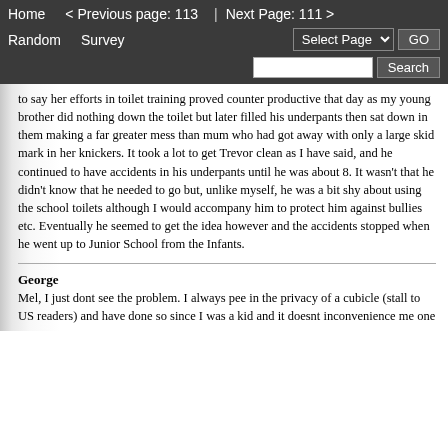Home   < Previous page: 113  |  Next Page: 111 >
Random   Survey   Select Page ▾  GO
[Search box]  Search
to say her efforts in toilet training proved counter productive that day as my young brother did nothing down the toilet but later filled his underpants then sat down in them making a far greater mess than mum who had got away with only a large skid mark in her knickers. It took a lot to get Trevor clean as I have said, and he continued to have accidents in his underpants until he was about 8. It wasn't that he didn't know that he needed to go but, unlike myself, he was a bit shy about using the school toilets although I would accompany him to protect him against bullies etc. Eventually he seemed to get the idea however and the accidents stopped when he went up to Junior School from the Infants.
George
Mel, I just dont see the problem. I always pee in the privacy of a cubicle (stall to US readers) and have done so since I was a kid and it doesnt inconvenience me one